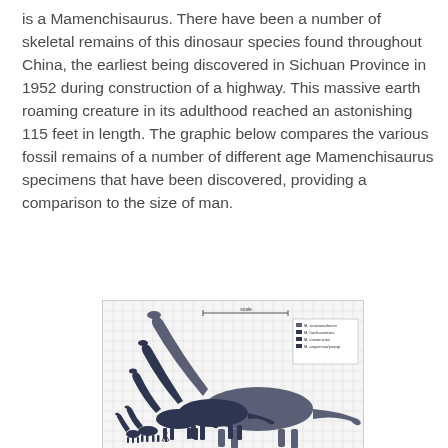is a Mamenchisaurus. There have been a number of skeletal remains of this dinosaur species found throughout China, the earliest being discovered in Sichuan Province in 1952 during construction of a highway. This massive earth roaming creature in its adulthood reached an astonishing 115 feet in length. The graphic below compares the various fossil remains of a number of different age Mamenchisaurus specimens that have been discovered, providing a comparison to the size of man.
[Figure (illustration): A size comparison diagram of multiple Mamenchisaurus specimens of different ages shown as silhouettes on a grid background, with a small human figure for scale. A legend appears in the upper right of the diagram listing species/specimen names. The largest specimen dominates with a very long neck and tail extending nearly the full width of the diagram.]